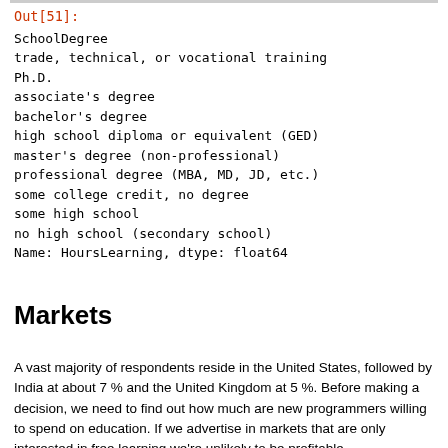Out[51]:
SchoolDegree
trade, technical, or vocational training
Ph.D.
associate's degree
bachelor's degree
high school diploma or equivalent (GED)
master's degree (non-professional)
professional degree (MBA, MD, JD, etc.)
some college credit, no degree
some high school
no high school (secondary school)
Name: HoursLearning, dtype: float64
Markets
A vast majority of respondents reside in the United States, followed by India at about 7 % and the United Kingdom at 5 %. Before making a decision, we need to find out how much are new programmers willing to spend on education. If we advertise in markets that are only interested in free learning we're unlikely to be profitable.